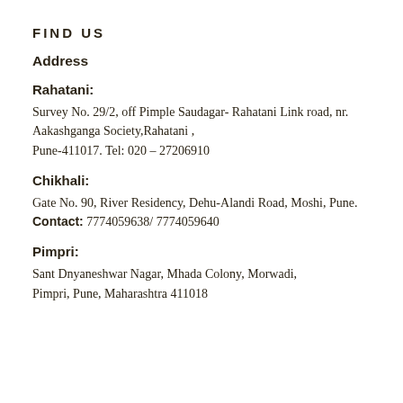FIND US
Address
Rahatani:
Survey No. 29/2, off Pimple Saudagar- Rahatani Link road, nr. Aakashganga Society,Rahatani , Pune-411017. Tel: 020 – 27206910
Chikhali:
Gate No. 90, River Residency, Dehu-Alandi Road, Moshi, Pune. Contact: 7774059638/ 7774059640
Pimpri:
Sant Dnyaneshwar Nagar, Mhada Colony, Morwadi, Pimpri, Pune, Maharashtra 411018